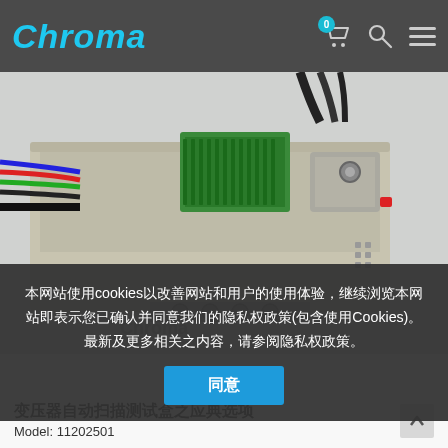[Figure (screenshot): Chroma website navigation bar with logo, cart icon (badge 0), search icon, and hamburger menu on dark background]
[Figure (photo): Electronic test equipment box (transformer automatic scan test fixture) with colorful ribbon cables connected, green IC socket, and BNC connectors on top]
本网站使用cookies以改善网站和用户的使用体验，继续浏览本网站即表示您已确认并同意我们的隐私权政策(包含使用Cookies)。最新及更多相关之内容，请参阅隐私权政策。
同意
变压器自动扫描测试盒之应典选项
Model: 11202501